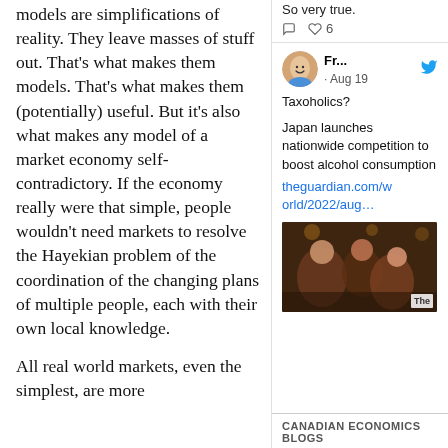models are simplifications of reality. They leave masses of stuff out. That's what makes them models. That's what makes them (potentially) useful. But it's also what makes any model of a market economy self-contradictory. If the economy really were that simple, people wouldn't need markets to resolve the Hayekian problem of the coordination of the changing plans of multiple people, each with their own local knowledge.
All real world markets, even the simplest, are more
So very true.
[Figure (screenshot): Tweet from user Fr... with Twitter bird icon, dated Aug 19. Text: 'Taxoholics? Japan launches nationwide competition to boost alcohol consumption' with link theguardian.com/world/2022/aug... and a photo thumbnail showing people in a restaurant setting with 'The' label overlay.]
CANADIAN ECONOMICS BLOGS